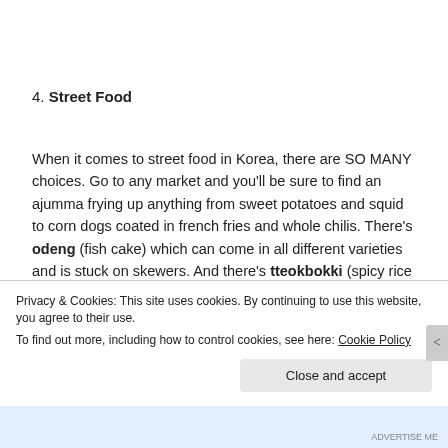4. Street Food
When it comes to street food in Korea, there are SO MANY choices. Go to any market and you'll be sure to find an ajumma frying up anything from sweet potatoes and squid to corn dogs coated in french fries and whole chilis. There's odeng (fish cake) which can come in all different varieties and is stuck on skewers. And there's tteokbokki (spicy rice cakes in red sauce) which my husband LOVES, mandu (dumplings both fried and steamed), beondegi (steamed
Privacy & Cookies: This site uses cookies. By continuing to use this website, you agree to their use.
To find out more, including how to control cookies, see here: Cookie Policy
Close and accept